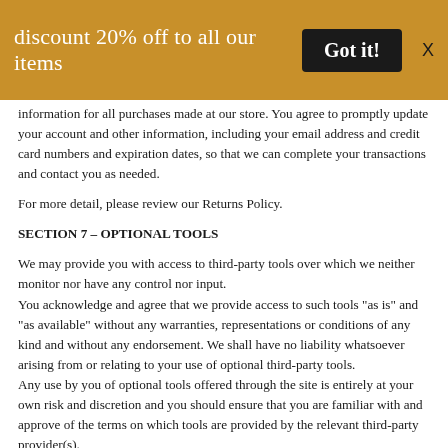[Figure (screenshot): Golden/amber banner with promotional text 'discount 20% off to all our items', a dark 'Got it!' button, and an X close icon]
information for all purchases made at our store. You agree to promptly update your account and other information, including your email address and credit card numbers and expiration dates, so that we can complete your transactions and contact you as needed.
For more detail, please review our Returns Policy.
SECTION 7 – OPTIONAL TOOLS
We may provide you with access to third-party tools over which we neither monitor nor have any control nor input.
You acknowledge and agree that we provide access to such tools "as is" and "as available" without any warranties, representations or conditions of any kind and without any endorsement. We shall have no liability whatsoever arising from or relating to your use of optional third-party tools.
Any use by you of optional tools offered through the site is entirely at your own risk and discretion and you should ensure that you are familiar with and approve of the terms on which tools are provided by the relevant third-party provider(s).
We may also, in the future, offer new services and/or features through the website (including, the release of new tools and resources). Such new features and/or services shall also be subject to these Terms of Service.